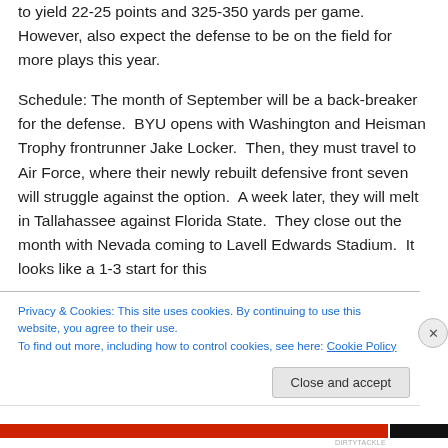to yield 22-25 points and 325-350 yards per game. However, also expect the defense to be on the field for more plays this year.
Schedule: The month of September will be a back-breaker for the defense. BYU opens with Washington and Heisman Trophy frontrunner Jake Locker. Then, they must travel to Air Force, where their newly rebuilt defensive front seven will struggle against the option. A week later, they will melt in Tallahassee against Florida State. They close out the month with Nevada coming to Lavell Edwards Stadium. It looks like a 1-3 start for this
Privacy & Cookies: This site uses cookies. By continuing to use this website, you agree to their use.
To find out more, including how to control cookies, see here: Cookie Policy
Close and accept